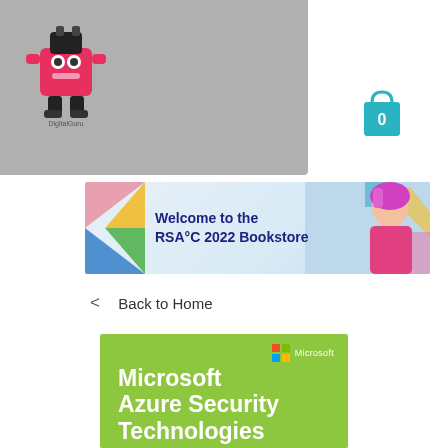[Figure (screenshot): DigitalGuru Technology website header with grey navigation bar, company logo, hamburger menu icon (three white lines), and teal shopping bag/cart icon showing 0 items]
[Figure (infographic): Banner for RSA°C 2022 Bookstore with colorful geometric triangles on left, a portrait photo on right, and bold text 'Welcome to the RSA°C 2022 Bookstore' in dark blue]
< Back to Home
[Figure (photo): Microsoft Azure Security Technologies book cover on bright green background with Microsoft logo in top right and white text reading 'Microsoft Azure Security Technologies']